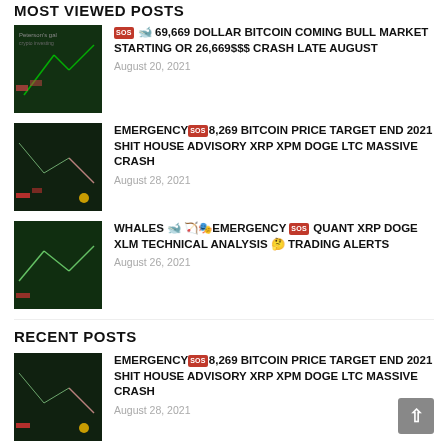MOST VIEWED POSTS
🆘 🐋 69,669 DOLLAR BITCOIN COMING BULL MARKET STARTING OR 26,669$$$ CRASH LATE AUGUST | August 20, 2021
EMERGENCY🆘8,269 BITCOIN PRICE TARGET END 2021 SHIT HOUSE ADVISORY XRP XPM DOGE LTC MASSIVE CRASH | August 28, 2021
Whales 🐋 🏹🎭EMERGENCY 🆘 QUANT XRP DOGE XLM TECHNICAL ANALYSIS 🤔 TRADING ALERTS | August 26, 2021
RECENT POSTS
EMERGENCY🆘8,269 BITCOIN PRICE TARGET END 2021 SHIT HOUSE ADVISORY XRP XPM DOGE LTC MASSIVE CRASH | August 28, 2021